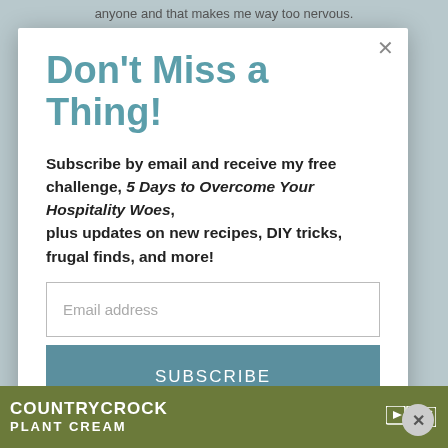anyone and that makes me way too nervous.
Don't Miss a Thing!
Subscribe by email and receive my free challenge, 5 Days to Overcome Your Hospitality Woes, plus updates on new recipes, DIY tricks, frugal finds, and more!
[Figure (screenshot): Email address input field]
[Figure (screenshot): SUBSCRIBE button in teal/steel blue color]
[Figure (screenshot): Country Crock Plant Cream advertisement banner at bottom]